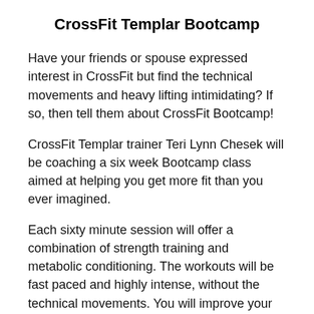CrossFit Templar Bootcamp
Have your friends or spouse expressed interest in CrossFit but find the technical movements and heavy lifting intimidating? If so, then tell them about CrossFit Bootcamp!
CrossFit Templar trainer Teri Lynn Chesek will be coaching a six week Bootcamp class aimed at helping you get more fit than you ever imagined.
Each sixty minute session will offer a combination of strength training and metabolic conditioning. The workouts will be fast paced and highly intense, without the technical movements. You will improve your endurance, strength, stamina and speed.